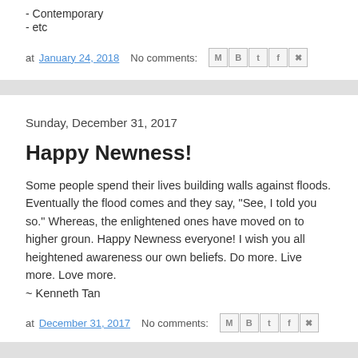- Contemporary
- etc
at January 24, 2018   No comments:
Sunday, December 31, 2017
Happy Newness!
Some people spend their lives building walls against floods. Eventually the flood comes and they say, "See, I told you so." Whereas, the enlightened ones have moved on to higher groun. Happy Newness everyone! I wish you all heightened awareness our own beliefs. Do more. Live more. Love more.
~ Kenneth Tan
at December 31, 2017   No comments: